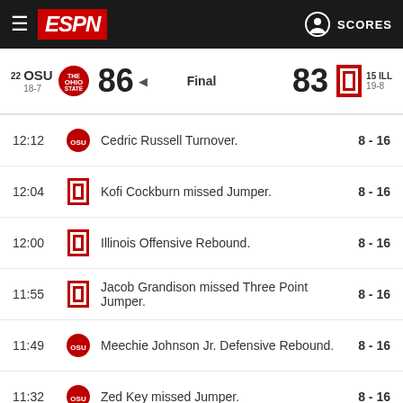ESPN SCORES
| Rank/Team | Score | Final | Score | Rank/Team |
| --- | --- | --- | --- | --- |
| 22 OSU 18-7 | 86 | Final | 83 | 15 ILL 19-8 |
| Time | Team | Play | Score |
| --- | --- | --- | --- |
| 12:12 | OSU | Cedric Russell Turnover. | 8 - 16 |
| 12:04 | ILL | Kofi Cockburn missed Jumper. | 8 - 16 |
| 12:00 | ILL | Illinois Offensive Rebound. | 8 - 16 |
| 11:55 | ILL | Jacob Grandison missed Three Point Jumper. | 8 - 16 |
| 11:49 | OSU | Meechie Johnson Jr. Defensive Rebound. | 8 - 16 |
| 11:32 | OSU | Zed Key missed Jumper. | 8 - 16 |
| 11:29 | ILL | Luke Goode Defensive Rebound. | 8 - 16 |
| 11:06 | ILL | Foul on Andre Curbelo. | 8 - 18 |
| 11:06 | ILL | Official TV Timeout | 8 - 18 |
| 10:53 | OSU | Malaki Branham missed Jumper. | 8 - 18 |
| 10:50 | ILL | Alfonso Plummer Defensive Rebound. | 8 - 18 |